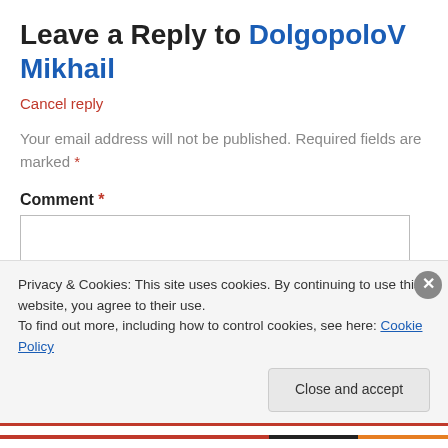Leave a Reply to DolgopoloV Mikhail
Cancel reply
Your email address will not be published. Required fields are marked *
Comment *
Privacy & Cookies: This site uses cookies. By continuing to use this website, you agree to their use.
To find out more, including how to control cookies, see here: Cookie Policy
Close and accept